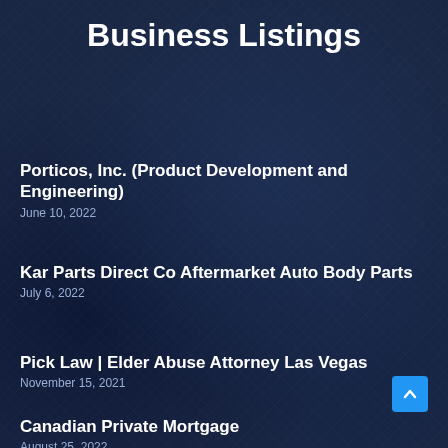Business Listings
Porticos, Inc. (Product Development and Engineering)
June 10, 2022
Kar Parts Direct Co Aftermarket Auto Body Parts
July 6, 2022
Pick Law | Elder Abuse Attorney Las Vegas
November 15, 2021
Canadian Private Mortgage
August 25, 2022